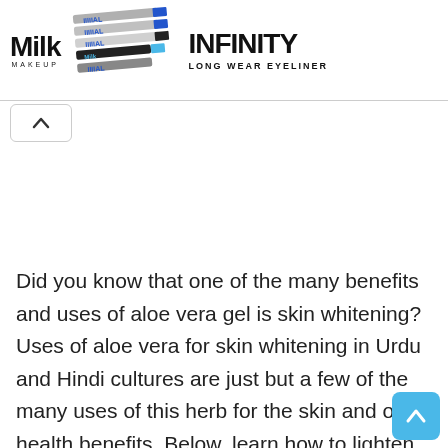[Figure (advertisement): Milk Makeup advertisement banner showing eyeliner pencils and the text INFINITY LONG WEAR EYELINER]
[Figure (other): A collapse/chevron-up button icon in a small rounded rectangle]
Did you know that one of the many benefits and uses of aloe vera gel is skin whitening? Uses of aloe vera for skin whitening in Urdu and Hindi cultures are just but a few of the many uses of this herb for the skin and other health benefits. Below, learn how to lighten dark skin using aloe vera cream, gel, and
[Figure (other): Scroll-to-top button (blue rounded square with upward chevron) in bottom-right corner]